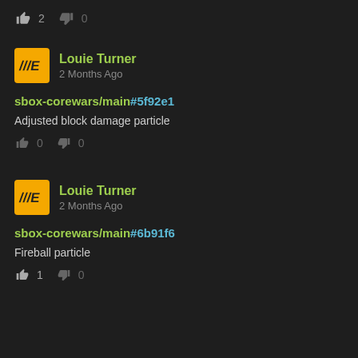👍 2   👎 0
Louie Turner
2 Months Ago
sbox-corewars/main#5f92e1
Adjusted block damage particle
👍 0   👎 0
Louie Turner
2 Months Ago
sbox-corewars/main#6b91f6
Fireball particle
👍 1   👎 0